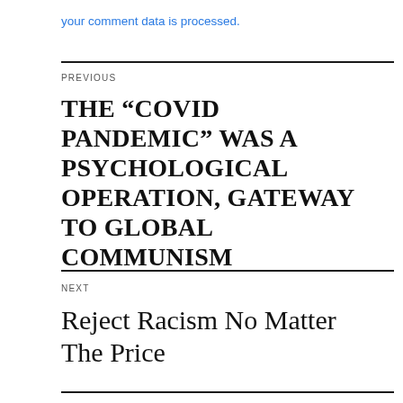your comment data is processed.
PREVIOUS
THE “COVID PANDEMIC” WAS A PSYCHOLOGICAL OPERATION, GATEWAY TO GLOBAL COMMUNISM
NEXT
Reject Racism No Matter The Price